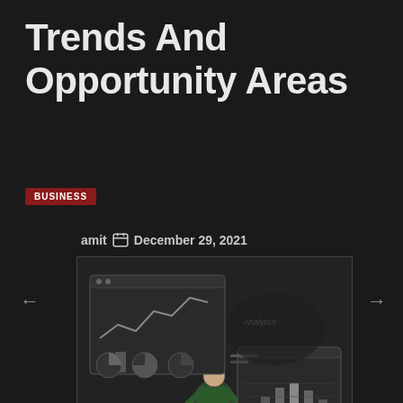Trends And Opportunity Areas
BUSINESS
amit  December 29, 2021
[Figure (illustration): Illustration of a person standing in front of business analytics dashboards showing line charts, pie charts, and bar charts on dark background]